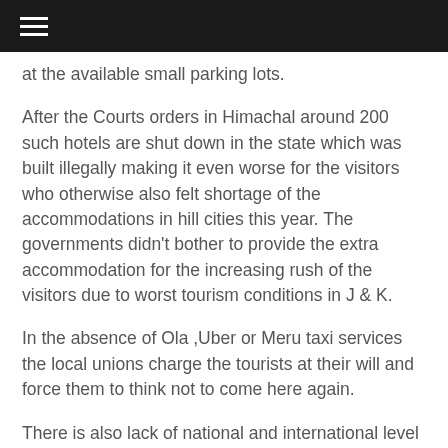☰
at the available small parking lots.
After the Courts orders in Himachal around 200 such hotels are shut down in the state which was built illegally making it even worse for the visitors who otherwise also felt shortage of the accommodations in hill cities this year. The governments didn't bother to provide the extra accommodation for the increasing rush of the visitors due to worst tourism conditions in J & K.
In the absence of Ola ,Uber or Meru taxi services the local unions charge the tourists at their will and force them to think not to come here again.
There is also lack of national and international level